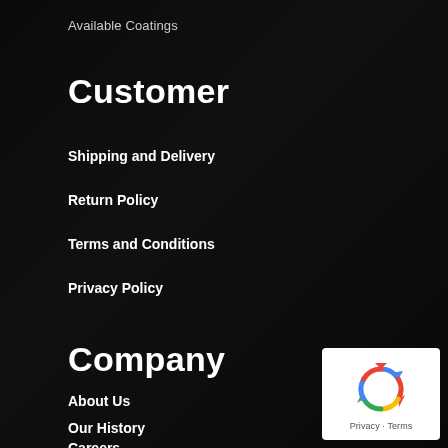Available Coatings
Customer
Shipping and Delivery
Return Policy
Terms and Conditions
Privacy Policy
Company
About Us
Our History
Careers
[Figure (logo): Google reCAPTCHA badge with recycling-arrow style logo and Privacy - Terms text]